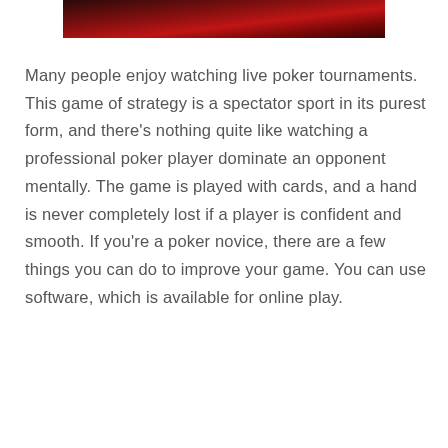[Figure (photo): Partial photo showing a dark reddish background, appears to be a poker or card game related image, cropped at the top of the page.]
Many people enjoy watching live poker tournaments. This game of strategy is a spectator sport in its purest form, and there's nothing quite like watching a professional poker player dominate an opponent mentally. The game is played with cards, and a hand is never completely lost if a player is confident and smooth. If you're a poker novice, there are a few things you can do to improve your game. You can use software, which is available for online play.